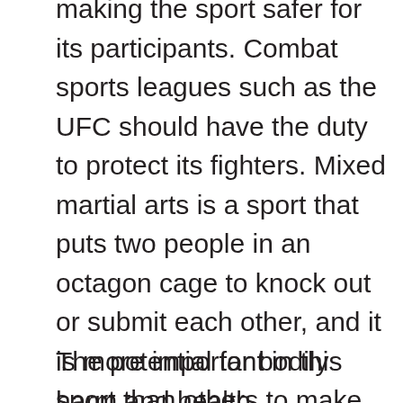making the sport safer for its participants. Combat sports leagues such as the UFC should have the duty to protect its fighters. Mixed martial arts is a sport that puts two people in an octagon cage to knock out or submit each other, and it is more important in this sport than others to make sure none of the participants are advantaged by performance enhancement drugs. Performance enhancement drugs give participants in any sport an unfair advantage to win in a competition. But in mixed martial arts, a fighter on a performance enhancement drug might seriously harm the other participant through increased power in punches, kicks, or any other form of strikes.
The potential for bodily harm and health consequences of participants fighting opponents